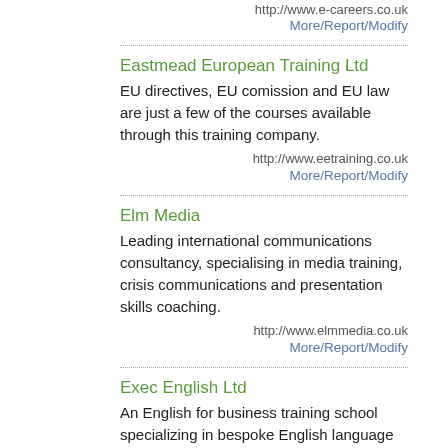http://www.e-careers.co.uk
More/Report/Modify
Eastmead European Training Ltd
EU directives, EU comission and EU law are just a few of the courses available through this training company.
http://www.eetraining.co.uk
More/Report/Modify
Elm Media
Leading international communications consultancy, specialising in media training, crisis communications and presentation skills coaching.
http://www.elmmedia.co.uk
More/Report/Modify
Exec English Ltd
An English for business training school specializing in bespoke English language training for business leaders and managers